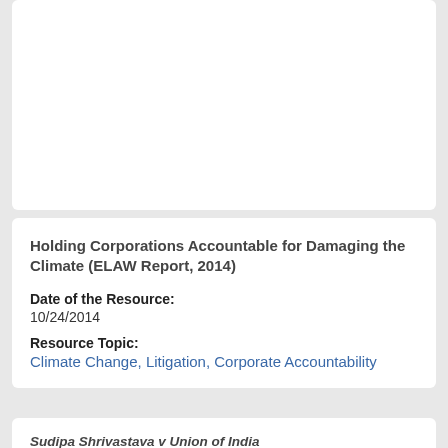Holding Corporations Accountable for Damaging the Climate (ELAW Report, 2014)
Date of the Resource:
10/24/2014
Resource Topic:
Climate Change, Litigation, Corporate Accountability
Sudipa Shrivastava v Union of India